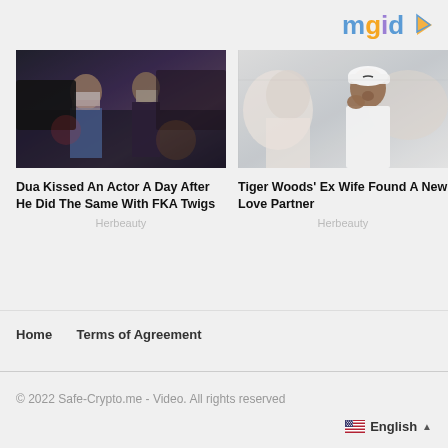[Figure (logo): mgid logo with colorful letters and play button triangle icon]
[Figure (photo): Two people wearing face masks walking at night near a dark car]
Dua Kissed An Actor A Day After He Did The Same With FKA Twigs
Herbeauty
[Figure (photo): Tiger Woods sitting in audience wearing white shirt and white cap, hand near face]
Tiger Woods' Ex Wife Found A New Love Partner
Herbeauty
Home   Terms of Agreement
© 2022 Safe-Crypto.me - Video. All rights reserved
English ▲